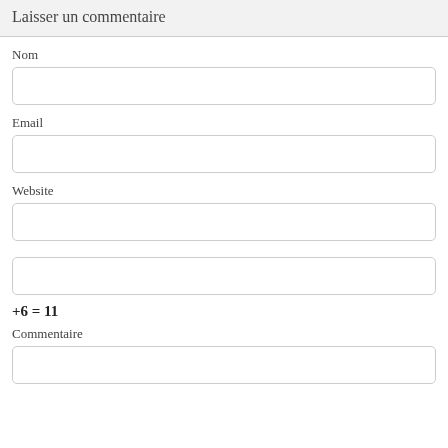Laisser un commentaire
Nom
Email
Website
Commentaire